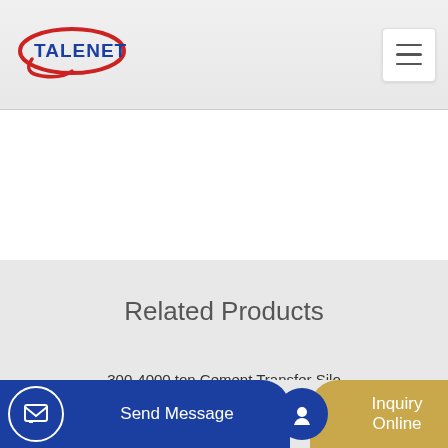[Figure (logo): Talenet company logo with red oval and blue text]
Related Products
300-4000 ton Cement Transfer Silo
PG1003 Reductores para SANY o Zoomlion Concrete Pump
Send Message
Inquiry Online